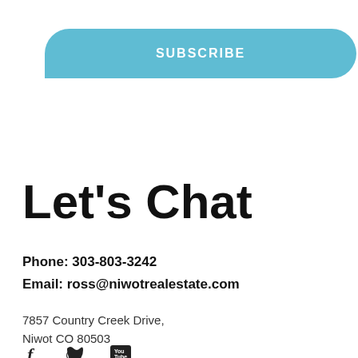[Figure (other): SUBSCRIBE button in light blue with rounded top-right and bottom-right corners]
Let's Chat
[Figure (other): Green arrow button pointing left on right edge]
Phone: 303-803-3242
Email: ross@niwotrealestate.com
7857 Country Creek Drive,
Niwot CO 80503
[Figure (other): Social media icons: Facebook, Twitter, YouTube]